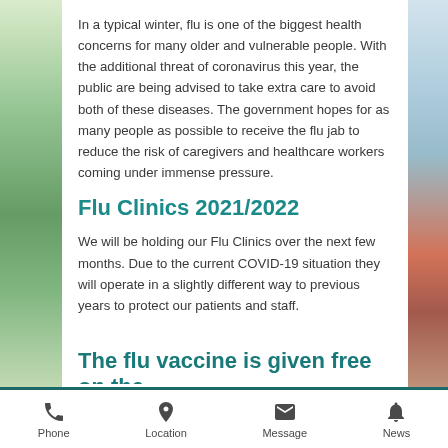In a typical winter, flu is one of the biggest health concerns for many older and vulnerable people. With the additional threat of coronavirus this year, the public are being advised to take extra care to avoid both of these diseases. The government hopes for as many people as possible to receive the flu jab to reduce the risk of caregivers and healthcare workers coming under immense pressure.
Flu Clinics 2021/2022
We will be holding our Flu Clinics over the next few months. Due to the current COVID-19 situation they will operate in a slightly different way to previous years to protect our patients and staff.
The flu vaccine is given free on the
Phone | Location | Message | News